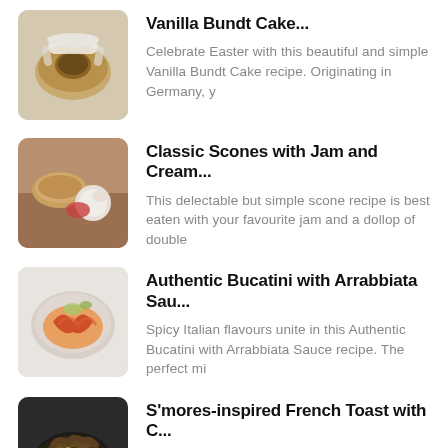[Figure (photo): A white-glazed vanilla bundt cake on a dark background]
Vanilla Bundt Cake...
Celebrate Easter with this beautiful and simple Vanilla Bundt Cake recipe. Originating in Germany, y
[Figure (photo): Classic scones with jam and cream on a wooden board]
Classic Scones with Jam and Cream...
This delectable but simple scone recipe is best eaten with your favourite jam and a dollop of double
[Figure (photo): A plate of bucatini with arrabbiata sauce garnished with herbs]
Authentic Bucatini with Arrabbiata Sau...
Spicy Italian flavours unite in this Authentic Bucatini with Arrabbiata Sauce recipe. The perfect mi
[Figure (photo): S'mores-inspired French toast in a dark skillet with chocolate and banana]
S'mores-inspired French Toast with C...
Topped with melted chocolate, caramelised banana and marshmallows, this S'mores-inspired Frenc